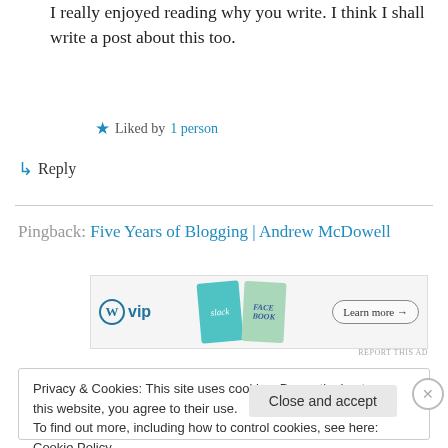I really enjoyed reading why you write. I think I shall write a post about this too.
Liked by 1 person
↳ Reply
Pingback: Five Years of Blogging | Andrew McDowell
[Figure (screenshot): WordPress VIP advertisement banner with Slack and Facebook tiles and Learn more button]
REPORT THIS AD
Privacy & Cookies: This site uses cookies. By continuing to use this website, you agree to their use.
To find out more, including how to control cookies, see here: Cookie Policy
Close and accept